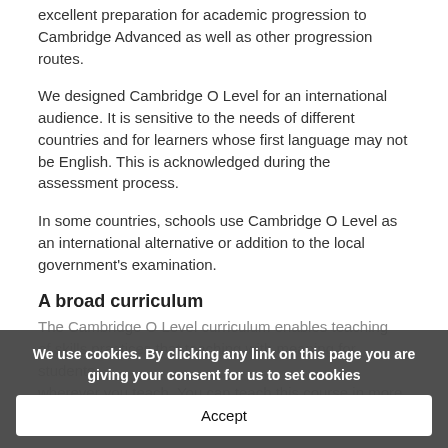excellent preparation for academic progression to Cambridge Advanced as well as other progression routes.
We designed Cambridge O Level for an international audience. It is sensitive to the needs of different countries and for learners whose first language may not be English. This is acknowledged during the assessment process.
In some countries, schools use Cambridge O Level as an international alternative or addition to the local government's examination.
A broad curriculum
The Cambridge O Level curriculum enables teaching (faded/partially visible behind cookie banner)
We use cookies. By clicking any link on this page you are giving your consent for us to set cookies